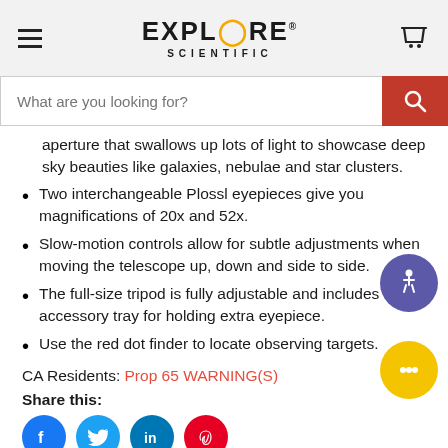EXPLORE SCIENTIFIC
aperture that swallows up lots of light to showcase deep sky beauties like galaxies, nebulae and star clusters.
Two interchangeable Plossl eyepieces give you magnifications of 20x and 52x.
Slow-motion controls allow for subtle adjustments when moving the telescope up, down and side to side.
The full-size tripod is fully adjustable and includes a accessory tray for holding extra eyepiece.
Use the red dot finder to locate observing targets.
CA Residents: Prop 65 WARNING(S)
Share this: